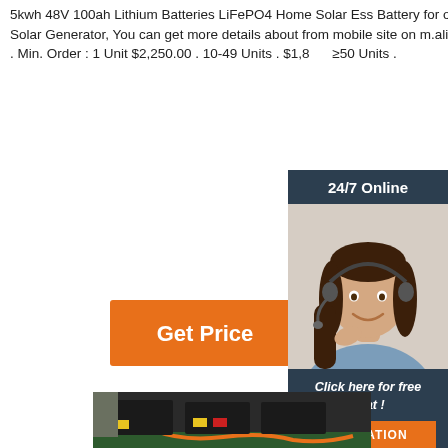5kwh 48V 100ah Lithium Batteries LiFePO4 Home Solar Ess Battery for on/off Grid Hybrid Solar Generator, You can get more details about from mobile site on m.alibaba.com. $2,680.00 . Min. Order : 1 Unit $2,250.00 . 10-49 Units . $1,8... ≥50 Units .
[Figure (illustration): Orange 'Get Price' button]
[Figure (photo): Customer service agent with headset, 24/7 Online banner, dark blue sidebar with 'Click here for free chat!' and orange QUOTATION button]
[Figure (photo): Photo of LiFePO4 battery units on a workbench with orange cables]